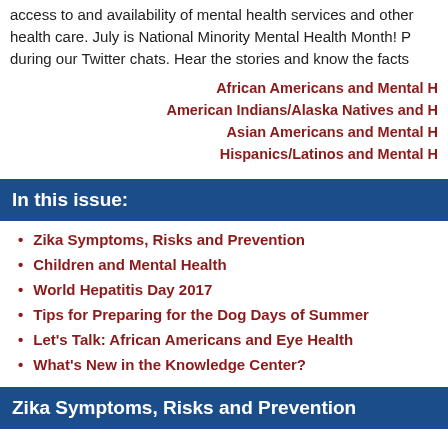access to and availability of mental health services and other health care. July is National Minority Mental Health Month! P during our Twitter chats. Hear the stories and know the facts
African Americans and Mental H
American Indians/Alaska Natives and H
Asian Americans and Mental H
Hispanics/Latinos and Mental H
In this issue:
Zika Symptoms, Risks and Prevention
Children and Mental Health
World Hepatitis Day 2017
Tips for Preparing for the Dog Days of Summer
Let's Talk: African Americans and Eye Health
What's New in the Knowledge Center?
Zika Symptoms, Risks and Prevention